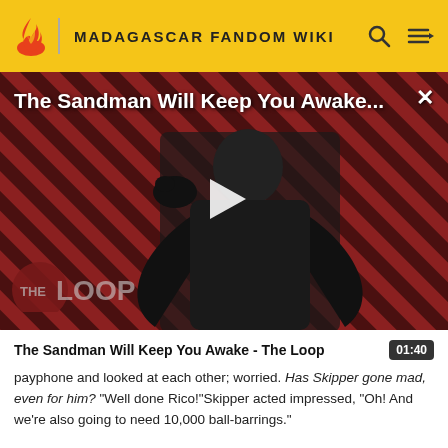MADAGASCAR FANDOM WIKI
[Figure (screenshot): Video thumbnail showing a dark-cloaked figure against a diagonal red and dark striped background with 'THE LOOP' watermark and a play button overlay. Title overlay reads: The Sandman Will Keep You Awake...]
The Sandman Will Keep You Awake - The Loop   01:40
payphone and looked at each other; worried. Has Skipper gone mad, even for him? "Well done Rico!"Skipper acted impressed, "Oh! And we're also going to need 10,000 ball-barrings."